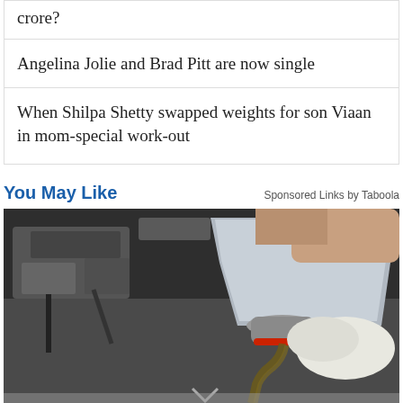crore?
Angelina Jolie and Brad Pitt are now single
When Shilpa Shetty swapped weights for son Viaan in mom-special work-out
You May Like
Sponsored Links by Taboola
[Figure (photo): A mechanic pouring motor oil into a car engine, viewed from above, with gloved hands and silver oil container]